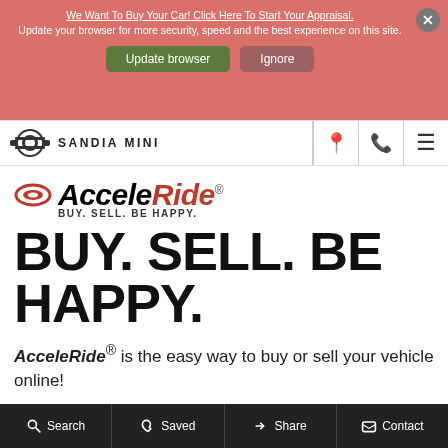[Figure (screenshot): Browser update notification banner with salmon/red background. Contains promotional link 'We Want To Buy Your Car! Click Here To Start Your Appraisal.' overlaid with browser update text 'Update your browser for more security, speed and the best experience on this site.' with 'Update browser' and 'Ignore' buttons, and a close X button.]
[Figure (logo): MINI dealership logo and navigation bar with MINI wing logo, 'SANDIA MINI' text, and icons for location, phone, and menu.]
[Figure (logo): AcceleRide logo with red icon, italic 'AcceleRide' wordmark in black and red with registered trademark symbol, and tagline 'BUY. SELL. BE HAPPY.']
BUY. SELL. BE HAPPY.
AcceleRide® is the easy way to buy or sell your vehicle online!
Search   Saved   Share   Contact